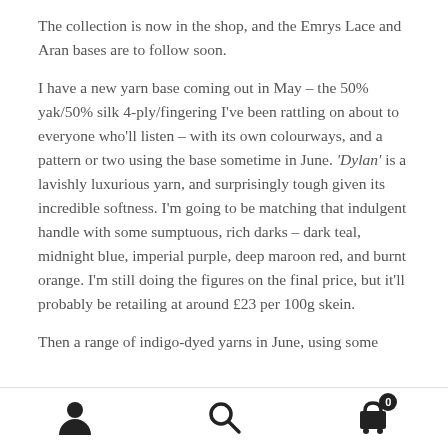The collection is now in the shop, and the Emrys Lace and Aran bases are to follow soon.
I have a new yarn base coming out in May – the 50% yak/50% silk 4-ply/fingering I've been rattling on about to everyone who'll listen – with its own colourways, and a pattern or two using the base sometime in June. 'Dylan' is a lavishly luxurious yarn, and surprisingly tough given its incredible softness. I'm going to be matching that indulgent handle with some sumptuous, rich darks – dark teal, midnight blue, imperial purple, deep maroon red, and burnt orange. I'm still doing the figures on the final price, but it'll probably be retailing at around £23 per 100g skein.
Then a range of indigo-dyed yarns in June, using some
user icon | search icon | cart icon (0)